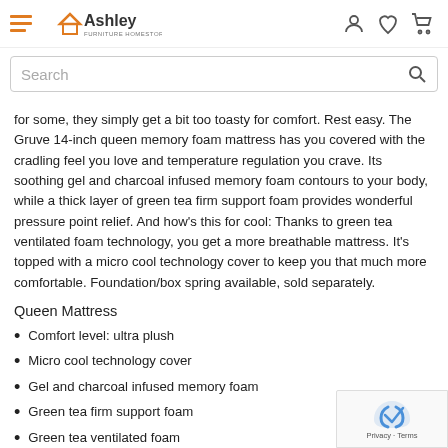Ashley Furniture HomeStore
for some, they simply get a bit too toasty for comfort. Rest easy. The Gruve 14-inch queen memory foam mattress has you covered with the cradling feel you love and temperature regulation you crave. Its soothing gel and charcoal infused memory foam contours to your body, while a thick layer of green tea firm support foam provides wonderful pressure point relief. And how's this for cool: Thanks to green tea ventilated foam technology, you get a more breathable mattress. It's topped with a micro cool technology cover to keep you that much more comfortable. Foundation/box spring available, sold separately.
Queen Mattress
Comfort level: ultra plush
Micro cool technology cover
Gel and charcoal infused memory foam
Green tea firm support foam
Green tea ventilated foam